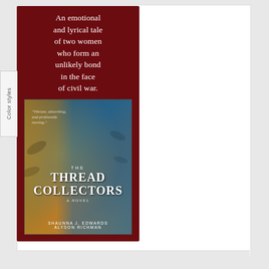[Figure (illustration): Book advertisement for 'The Thread Collectors' by Shaunna J. Edwards and Alyson Richman. Dark red/crimson background with decorative floral pattern. Top text: 'An emotional and lyrical tale of two women who form an unlikely bond in the face of civil war.' Center shows book cover with two women in historical dress (one in gold/yellow, one in teal/blue). Bottom text: quote from Pam Jenoff. Publisher: Graydon House.]
Color styles